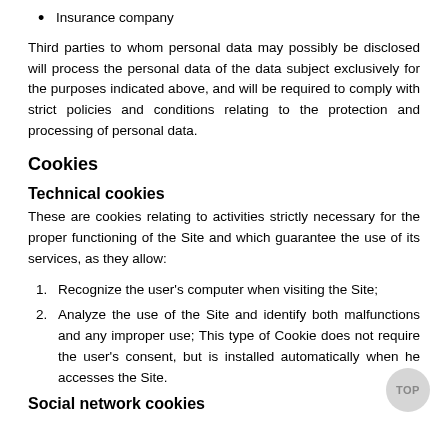Insurance company
Third parties to whom personal data may possibly be disclosed will process the personal data of the data subject exclusively for the purposes indicated above, and will be required to comply with strict policies and conditions relating to the protection and processing of personal data.
Cookies
Technical cookies
These are cookies relating to activities strictly necessary for the proper functioning of the Site and which guarantee the use of its services, as they allow:
Recognize the user's computer when visiting the Site;
Analyze the use of the Site and identify both malfunctions and any improper use; This type of Cookie does not require the user's consent, but is installed automatically when he accesses the Site.
Social network cookies